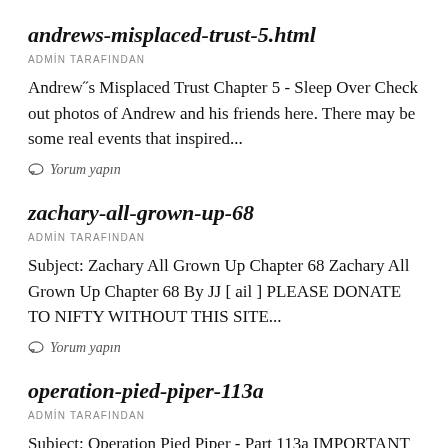andrews-misplaced-trust-5.html
ADMIN TARAFINDAN
Andrew˝s Misplaced Trust Chapter 5 - Sleep Over Check out photos of Andrew and his friends here. There may be some real events that inspired...
Yorum yapın
zachary-all-grown-up-68
ADMIN TARAFINDAN
Subject: Zachary All Grown Up Chapter 68 Zachary All Grown Up Chapter 68 By JJ [ ail ] PLEASE DONATE TO NIFTY WITHOUT THIS SITE...
Yorum yapın
operation-pied-piper-113a
ADMIN TARAFINDAN
Subject: Operation Pied Piper - Part 113a IMPORTANT NOTE TO ALL READERS Copyright and content notice